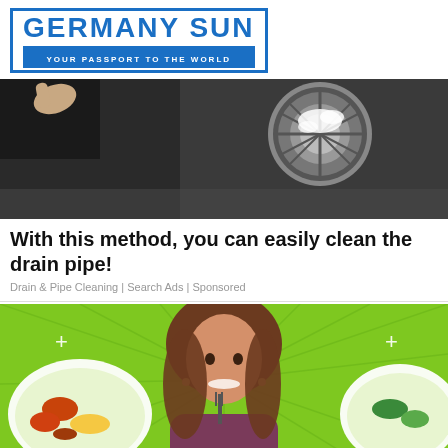GERMANY SUN — YOUR PASSPORT TO THE WORLD
[Figure (photo): Close-up of a stainless steel kitchen sink drain with baking soda or cleaning foam, a hand visible in the upper left corner.]
With this method, you can easily clean the drain pipe!
Drain & Pipe Cleaning | Search Ads | Sponsored
[Figure (photo): Smiling woman with long brown hair holding a fork, flanked by salad bowls on a bright green background with radiating lines and sparkle symbols.]